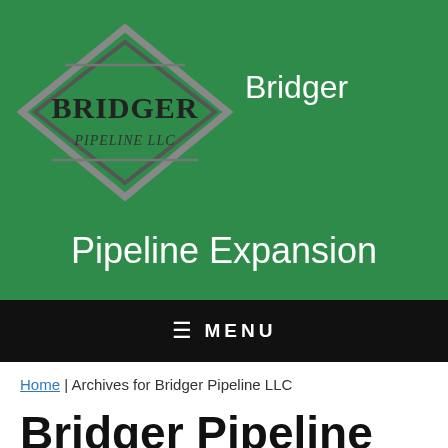[Figure (logo): Bridger Pipeline LLC logo — diamond/rhombus shape in gray with 'BRIDGER' in bold serif and 'PIPELINE LLC' below it, on a green background. To the right reads 'Bridger Pipeline Expansion' in white text.]
≡  MENU
Home | Archives for Bridger Pipeline LLC
Bridger Pipeline LLC